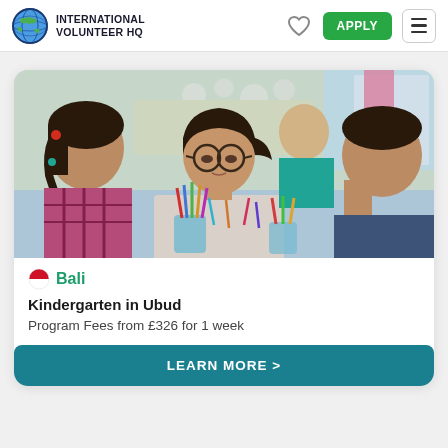INTERNATIONAL VOLUNTEER HQ
[Figure (photo): A woman with glasses helping young children with an art/craft activity in a classroom setting, children looking down at colorful pencils/craft supplies on a table]
Bali
Kindergarten in Ubud
Program Fees from £326 for 1 week
LEARN MORE >